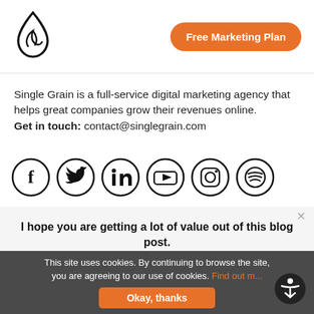[Figure (logo): Single Grain logo — a stylized flame/water drop in black outline]
Free Marketing Plan
Single Grain is a full-service digital marketing agency that helps great companies grow their revenues online. Get in touch: contact@singlegrain.com
[Figure (infographic): Row of six social media icons: Facebook, Twitter, LinkedIn, YouTube, Instagram, Spotify — each in a black circle outline]
I hope you are getting a lot of value out of this blog post.
Do you want to learn more about this topic? Schedule a Free Consultation call with a Single Grain Expert now!
This site uses cookies. By continuing to browse the site, you are agreeing to our use of cookies. Find out m... Okay, thanks